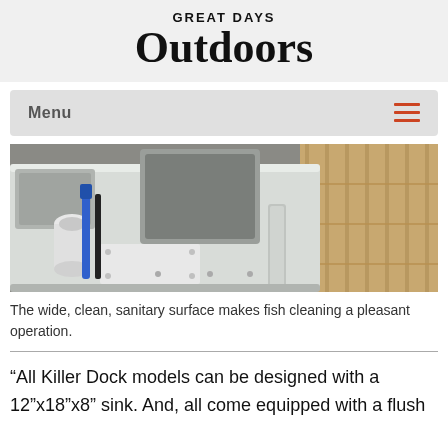GREAT DAYS Outdoors
[Figure (screenshot): Navigation menu bar with 'Menu' text on left and hamburger icon (three lines) in orange/red on right, on a grey background]
[Figure (photo): Close-up photo of a white fish cleaning station/table with a sink, cup holder, and blue-handled tool, set on a wooden dock]
The wide, clean, sanitary surface makes fish cleaning a pleasant operation.
“All Killer Dock models can be designed with a 12”x18”x8” sink. And, all come equipped with a flush